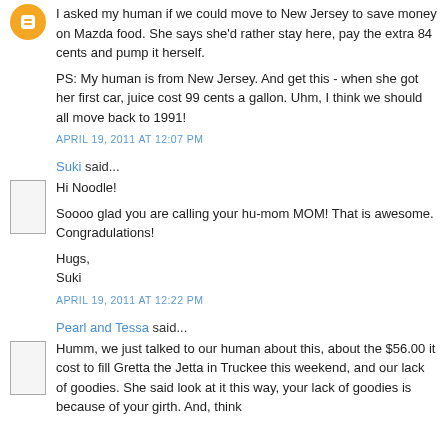I asked my human if we could move to New Jersey to save money on Mazda food. She says she'd rather stay here, pay the extra 84 cents and pump it herself.
PS: My human is from New Jersey. And get this - when she got her first car, juice cost 99 cents a gallon. Uhm, I think we should all move back to 1991!
APRIL 19, 2011 AT 12:07 PM
Suki said...
Hi Noodle!
Soooo glad you are calling your hu-mom MOM! That is awesome. Congradulations!
Hugs,
Suki
APRIL 19, 2011 AT 12:22 PM
Pearl and Tessa said...
Humm, we just talked to our human about this, about the $56.00 it cost to fill Gretta the Jetta in Truckee this weekend, and our lack of goodies. She said look at it this way, your lack of goodies is because of your girth. And, think